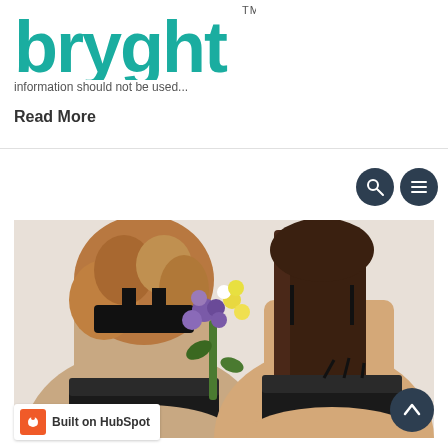[Figure (logo): bryght brand logo in teal/green color with TM superscript]
information should not be used...
Read More
[Figure (photo): Two women viewed from behind wearing black lace lingerie, holding a bouquet of purple and yellow flowers]
[Figure (other): Built on HubSpot badge in bottom left corner]
[Figure (other): Back to top button (upward chevron) in dark circle, bottom right]